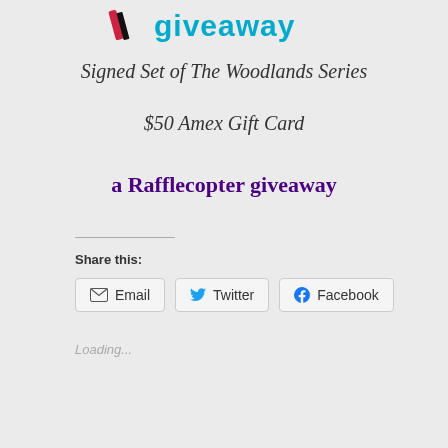[Figure (logo): Rafflecopter giveaway logo with pen icon and cyan text]
Signed Set of The Woodlands Series
$50 Amex Gift Card
a Rafflecopter giveaway
Share this:
Email  Twitter  Facebook
Loading...